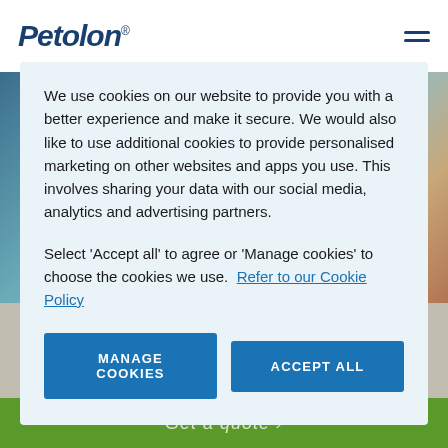Petolan
We use cookies on our website to provide you with a better experience and make it secure. We would also like to use additional cookies to provide personalised marketing on other websites and apps you use. This involves sharing your data with our social media, analytics and advertising partners.
Select ‘Accept all’ to agree or ‘Manage cookies’ to choose the cookies we use. Refer to our Cookie Policy
[Figure (screenshot): Cookie consent modal with two buttons: MANAGE COOKIES and ACCEPT ALL]
[Figure (illustration): Illustrated brown cat walking on a surface]
Get a quote ›